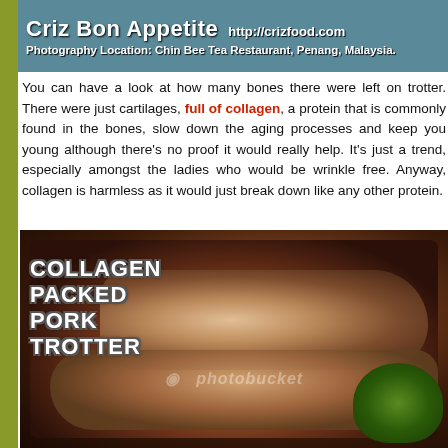[Figure (other): Header banner with teal/blue-green background showing blog name 'Criz Bon Appetite' with URL 'http://crizfood.com' and subtitle 'Photography Location: Chin Bee Tea Restaurant, Penang, Malaysia.']
You can have a look at how many bones there were left on trotter. There were just cartilages, full of collagen, a protein that is commonly found in the bones, slow down the aging processes and keep you young although there's no proof it would really help. It's just a trend, especially amongst the ladies who would love to be wrinkle free. Anyway, collagen is harmless as it would just break down like any other protein.
[Figure (photo): Photo of collagen packed pork trotter dish on a white plate with broccoli, overlaid with text 'COLLAGEN PACKED PORK TROTTER' and a Photobucket watermark.]